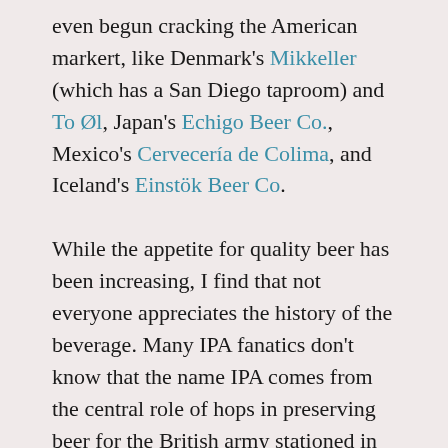even begun cracking the American markert, like Denmark's Mikkeller (which has a San Diego taproom) and To Øl, Japan's Echigo Beer Co., Mexico's Cervecería de Colima, and Iceland's Einstök Beer Co.
While the appetite for quality beer has been increasing, I find that not everyone appreciates the history of the beverage. Many IPA fanatics don't know that the name IPA comes from the central role of hops in preserving beer for the British army stationed in India in the nineteenth century. Likewise, many are unaware that the enormously popular pilsner is named for a region in the present-day Czech Republic,